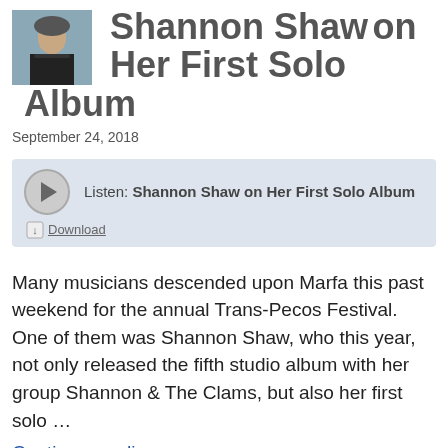Shannon Shaw on Her First Solo Album
September 24, 2018
[Figure (other): Audio player widget with play button and download link. Listen: Shannon Shaw on Her First Solo Album]
Many musicians descended upon Marfa this past weekend for the annual Trans-Pecos Festival. One of them was Shannon Shaw, who this year, not only released the fifth studio album with her group Shannon & The Clams, but also her first solo …
Continue reading →